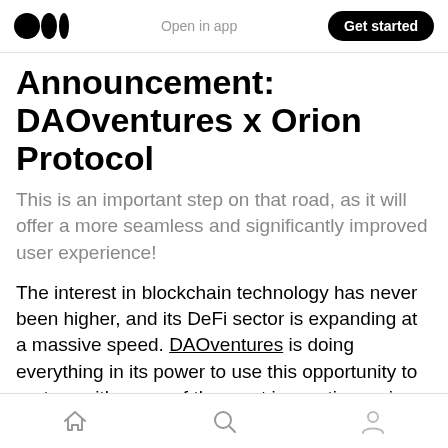Open in app | Get started
Announcement: DAOventures x Orion Protocol
This is an important step on that road, as it will offer a more seamless and significantly improved user experience!
The interest in blockchain technology has never been higher, and its DeFi sector is expanding at a massive speed. DAOventures is doing everything in its power to use this opportunity to partner with some of the most innovative, unique
navigation icons: home, search, profile